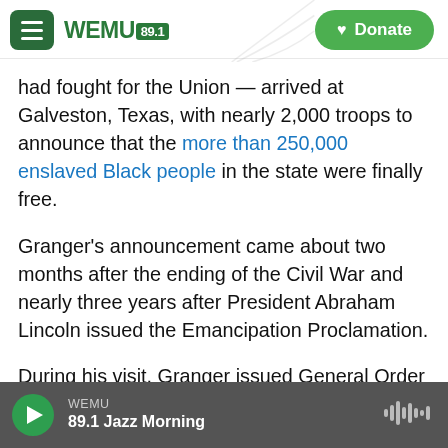WEMU 89.1 — Navigation header with Donate button
had fought for the Union — arrived at Galveston, Texas, with nearly 2,000 troops to announce that the more than 250,000 enslaved Black people in the state were finally free.
Granger's announcement came about two months after the ending of the Civil War and nearly three years after President Abraham Lincoln issued the Emancipation Proclamation.
During his visit, Granger issued General Order No. 3, informing the people of Texas that those who were enslaved were now free, according to the National
WEMU — 89.1 Jazz Morning